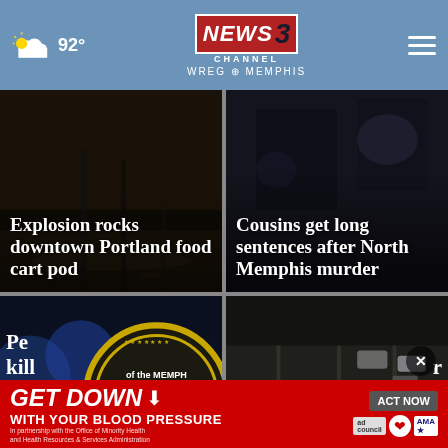92° NEWS CHANNEL 3 WREG MEMPHIS
[Figure (photo): Dark outdoor scene, blurry street/ground view]
Explosion rocks downtown Portland food cart pod
[Figure (photo): Dark night scene, blurry lights]
Cousins get long sentences after North Memphis murder
[Figure (photo): Memphis police badge/seal, blurry blue lights]
Peo... kill...
[Figure (photo): Aerial view of police cars on highway at night]
[Figure (screenshot): Advertisement: GET DOWN WITH YOUR BLOOD PRESSURE - ACT NOW - In partnership with the Office of Minority Health and Health Resources & Services Administration]